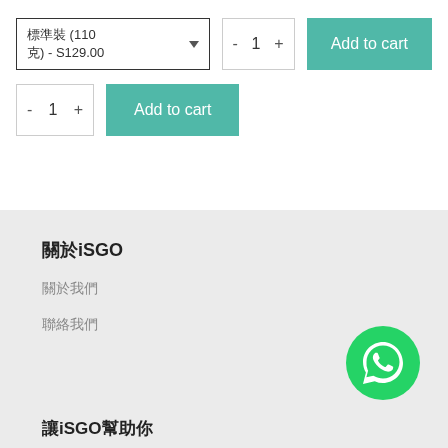標準裝 (110 克) - S129.00
- 1 +
Add to cart
- 1 +
Add to cart
關於iSGO
關於我們
聯絡我們
[Figure (logo): WhatsApp green circle icon with phone handset in speech bubble]
讓iSGO幫助你